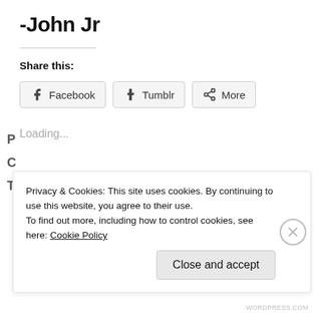-John Jr
Share this:
Facebook  Tumblr  More
Loading...
Privacy & Cookies: This site uses cookies. By continuing to use this website, you agree to their use. To find out more, including how to control cookies, see here: Cookie Policy
Close and accept